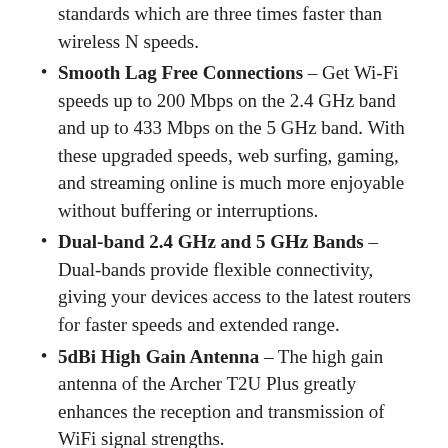standards which are three times faster than wireless N speeds.
Smooth Lag Free Connections – Get Wi-Fi speeds up to 200 Mbps on the 2.4 GHz band and up to 433 Mbps on the 5 GHz band. With these upgraded speeds, web surfing, gaming, and streaming online is much more enjoyable without buffering or interruptions.
Dual-band 2.4 GHz and 5 GHz Bands – Dual-bands provide flexible connectivity, giving your devices access to the latest routers for faster speeds and extended range.
5dBi High Gain Antenna – The high gain antenna of the Archer T2U Plus greatly enhances the reception and transmission of WiFi signal strengths.
OS Compatibility – This USB Wi-Fi adapter